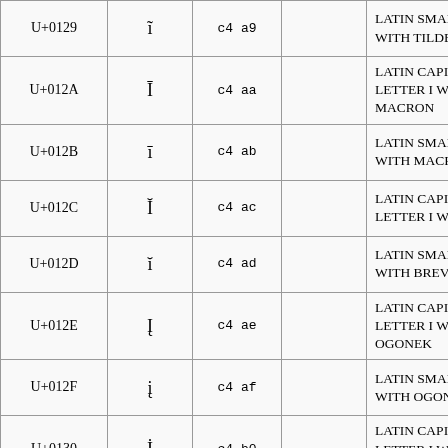| Code | Char | Bytes |  | Name |
| --- | --- | --- | --- | --- |
| U+0129 | ĩ | c4 a9 |  | LATIN SMALL LETTER I WITH TILDE |
| U+012A | Ī | c4 aa |  | LATIN CAPITAL LETTER I WITH MACRON |
| U+012B | ī | c4 ab |  | LATIN SMALL LETTER I WITH MACRON |
| U+012C | Ĭ | c4 ac |  | LATIN CAPITAL LETTER I WITH BREVE |
| U+012D | ĭ | c4 ad |  | LATIN SMALL LETTER I WITH BREVE |
| U+012E | Į | c4 ae |  | LATIN CAPITAL LETTER I WITH OGONEK |
| U+012F | į | c4 af |  | LATIN SMALL LETTER I WITH OGONEK |
| U+0130 | İ | c4 b0 |  | LATIN CAPITAL LETTER I WITH DOT ABOVE |